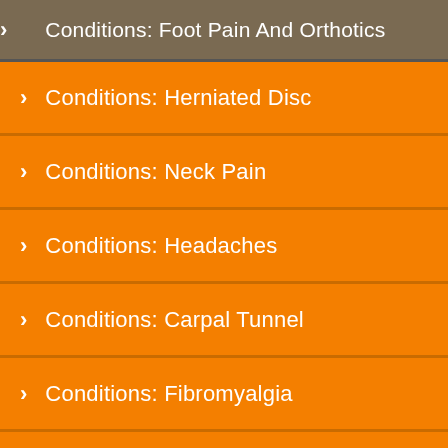Conditions: Foot Pain And Orthotics
Conditions: Herniated Disc
Conditions: Neck Pain
Conditions: Headaches
Conditions: Carpal Tunnel
Conditions: Fibromyalgia
Conditions: Lower Back Pain